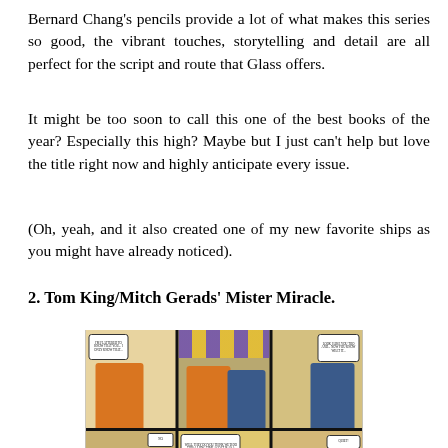Bernard Chang's pencils provide a lot of what makes this series so good, the vibrant touches, storytelling and detail are all perfect for the script and route that Glass offers.
It might be too soon to call this one of the best books of the year? Especially this high? Maybe but I just can't help but love the title right now and highly anticipate every issue.
(Oh, yeah, and it also created one of my new favorite ships as you might have already noticed).
2. Tom King/Mitch Gerads' Mister Miracle.
[Figure (illustration): Comic book panel grid showing two characters hanging a colorful banner with Batman logo. Top row shows three panels of a person in orange shirt and person in blue shirt stretching a decorative banner. Bottom row shows three panels continuing the scene with speech bubbles and close-ups.]